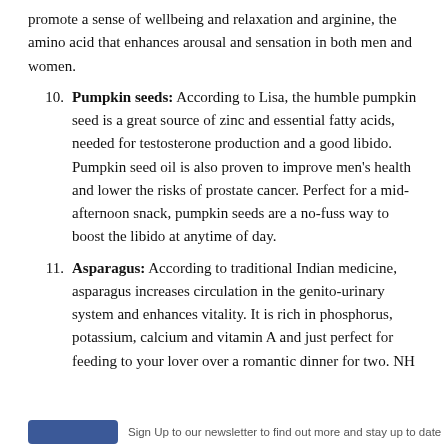promote a sense of wellbeing and relaxation and arginine, the amino acid that enhances arousal and sensation in both men and women.
10. Pumpkin seeds: According to Lisa, the humble pumpkin seed is a great source of zinc and essential fatty acids, needed for testosterone production and a good libido. Pumpkin seed oil is also proven to improve men's health and lower the risks of prostate cancer. Perfect for a mid-afternoon snack, pumpkin seeds are a no-fuss way to boost the libido at anytime of day.
11. Asparagus: According to traditional Indian medicine, asparagus increases circulation in the genito-urinary system and enhances vitality. It is rich in phosphorus, potassium, calcium and vitamin A and just perfect for feeding to your lover over a romantic dinner for two. NH